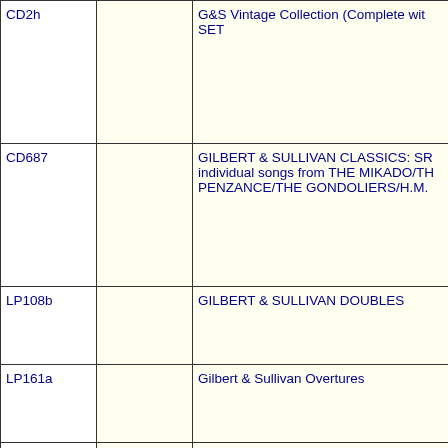| CD2h |  | G&S Vintage Collection (Complete with SET |
| CD687 |  | GILBERT & SULLIVAN CLASSICS: SR individual songs from THE MIKADO/TH PENZANCE/THE GONDOLIERS/H.M. |
| LP108b |  | GILBERT & SULLIVAN DOUBLES |
| LP161a |  | Gilbert & Sullivan Overtures |
| GSS17-18 |  | GILBERT & SULLIVAN SONGS GSS1 |